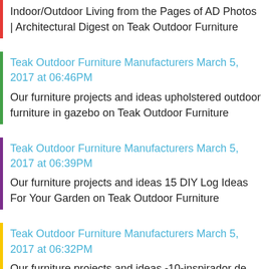Indoor/Outdoor Living from the Pages of AD Photos | Architectural Digest on Teak Outdoor Furniture
Teak Outdoor Furniture Manufacturers March 5, 2017 at 06:46PM
Our furniture projects and ideas upholstered outdoor furniture in gazebo on Teak Outdoor Furniture
Teak Outdoor Furniture Manufacturers March 5, 2017 at 06:39PM
Our furniture projects and ideas 15 DIY Log Ideas For Your Garden on Teak Outdoor Furniture
Teak Outdoor Furniture Manufacturers March 5, 2017 at 06:32PM
Our furniture projects and ideas -10-inspirador de pequeña Comedor-Tablas-Que-Usted-Va-Amor-1-10-inspirador de pequeña Comedor-Tablas-Que-Usted-Va-Amor-1 on Looks nice furniture